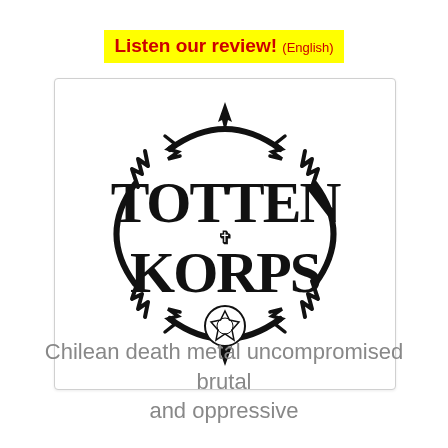Listen our review! (English)
[Figure (logo): Totten Korps band logo — black gothic/death metal style lettering with ornate thorned border and pentagram symbol at bottom center, on white background]
Chilean death metal uncompromised brutal and oppressive